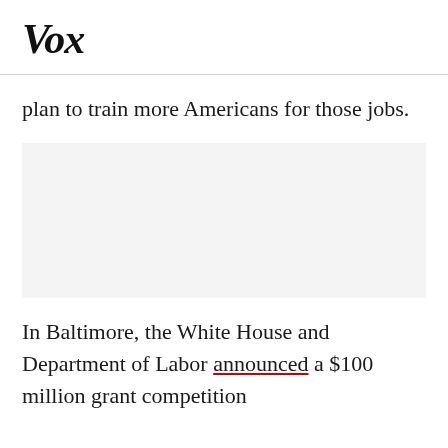Vox
plan to train more Americans for those jobs.
[Figure (other): Image placeholder (blank light gray rectangle)]
In Baltimore, the White House and Department of Labor announced a $100 million grant competition